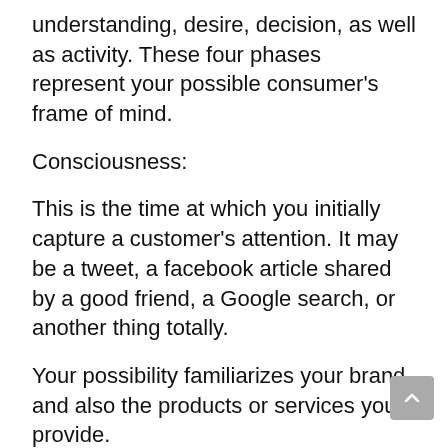understanding, desire, decision, as well as activity. These four phases represent your possible consumer's frame of mind.
Consciousness:
This is the time at which you initially capture a customer's attention. It may be a tweet, a facebook article shared by a good friend, a Google search, or another thing totally.
Your possibility familiarizes your brand and also the products or services you provide.